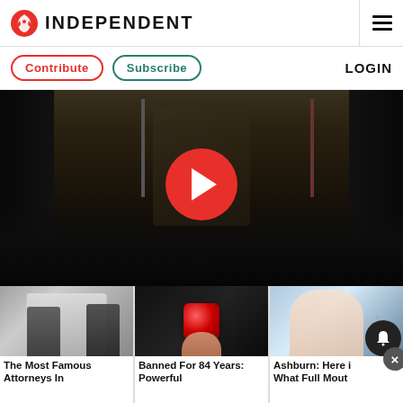INDEPENDENT
Contribute  Subscribe  LOGIN
[Figure (screenshot): Video thumbnail showing people seated in conference room with flags, overlaid with large red play button circle]
[Figure (photo): Three advertisement/article cards side by side: 1) The Most Famous Attorneys In (Ashburn) - people in business attire, 2) Banned For 84 Years: Powerful - red gummy candy on finger, 3) Ashburn: Here i What Full Mout - woman smiling with dental equipment]
The Most Famous Attorneys In
Banned For 84 Years: Powerful
Ashburn: Here i What Full Mout